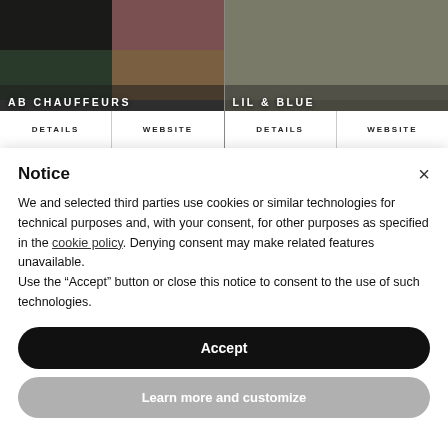[Figure (photo): Two vendor cards side by side. Left card shows 'AB Chauffeurs' with a collage of classic car images. Right card shows 'Lil & Blue' with a vintage car image. Each card has DETAILS and WEBSITE buttons at the bottom.]
Notice
We and selected third parties use cookies or similar technologies for technical purposes and, with your consent, for other purposes as specified in the cookie policy. Denying consent may make related features unavailable.
Use the “Accept” button or close this notice to consent to the use of such technologies.